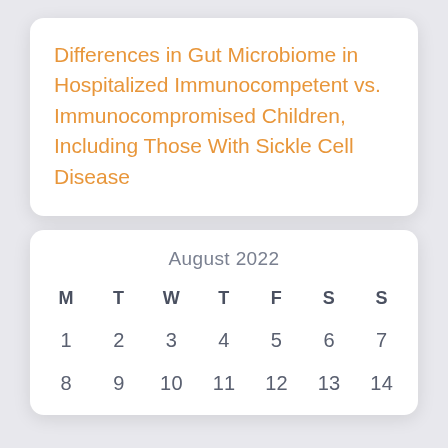Differences in Gut Microbiome in Hospitalized Immunocompetent vs. Immunocompromised Children, Including Those With Sickle Cell Disease
| M | T | W | T | F | S | S |
| --- | --- | --- | --- | --- | --- | --- |
| 1 | 2 | 3 | 4 | 5 | 6 | 7 |
| 8 | 9 | 10 | 11 | 12 | 13 | 14 |